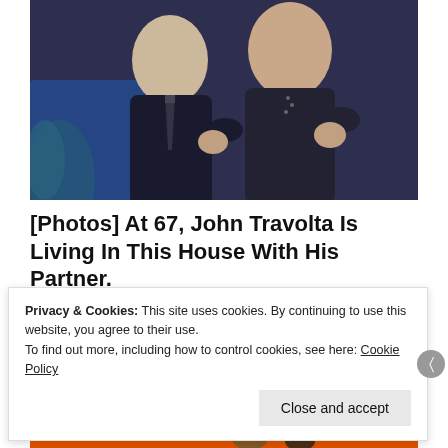[Figure (photo): Two men in dark suits photographed together, partial view showing upper bodies against a blue background]
[Photos] At 67, John Travolta Is Living In This House With His Partner.
Medicare Records
[Figure (screenshot): Fortnite game logo on orange background with large white bold italic letters spelling FORTNITE]
Privacy & Cookies: This site uses cookies. By continuing to use this website, you agree to their use.
To find out more, including how to control cookies, see here: Cookie Policy
Close and accept